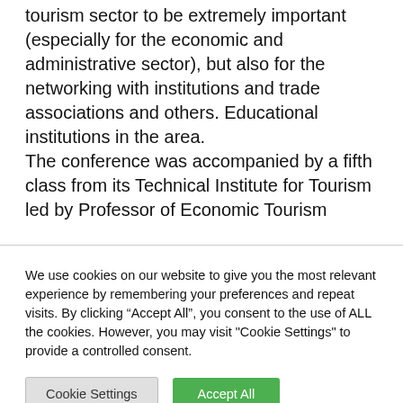tourism sector to be extremely important (especially for the economic and administrative sector), but also for the networking with institutions and trade associations and others. Educational institutions in the area. The conference was accompanied by a fifth class from its Technical Institute for Tourism led by Professor of Economic Tourism
We use cookies on our website to give you the most relevant experience by remembering your preferences and repeat visits. By clicking “Accept All”, you consent to the use of ALL the cookies. However, you may visit "Cookie Settings" to provide a controlled consent.